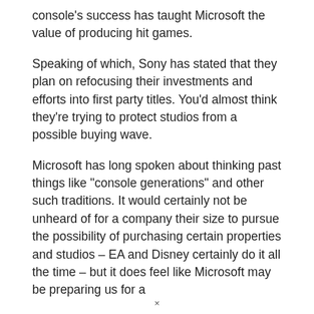console's success has taught Microsoft the value of producing hit games.
Speaking of which, Sony has stated that they plan on refocusing their investments and efforts into first party titles. You'd almost think they're trying to protect studios from a possible buying wave.
Microsoft has long spoken about thinking past things like "console generations" and other such traditions. It would certainly not be unheard of for a company their size to pursue the possibility of purchasing certain properties and studios – EA and Disney certainly do it all the time – but it does feel like Microsoft may be preparing us for a
×